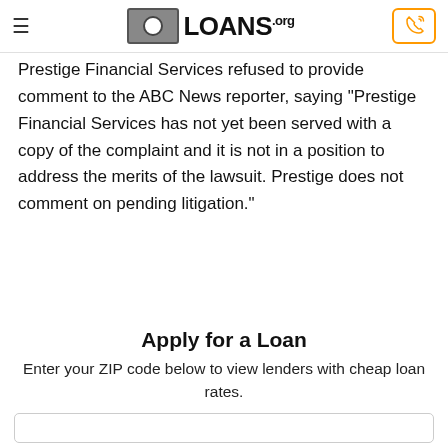LOANS.org
Prestige Financial Services refused to provide comment to the ABC News reporter, saying “Prestige Financial Services has not yet been served with a copy of the complaint and it is not in a position to address the merits of the lawsuit. Prestige does not comment on pending litigation.”
Apply for a Loan
Enter your ZIP code below to view lenders with cheap loan rates.